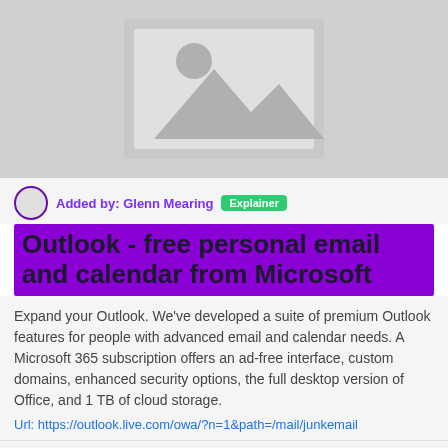[Figure (illustration): Gray placeholder image with mountain and sun silhouette icons]
Added by: Glenn Mearing  Explainer
Outlook - free personal email and calendar from Microsoft
Expand your Outlook. We've developed a suite of premium Outlook features for people with advanced email and calendar needs. A Microsoft 365 subscription offers an ad-free interface, custom domains, enhanced security options, the full desktop version of Office, and 1 TB of cloud storage.
Url: https://outlook.live.com/owa/?n=1&path=/mail/junkemail
49450  3875920  US  Up